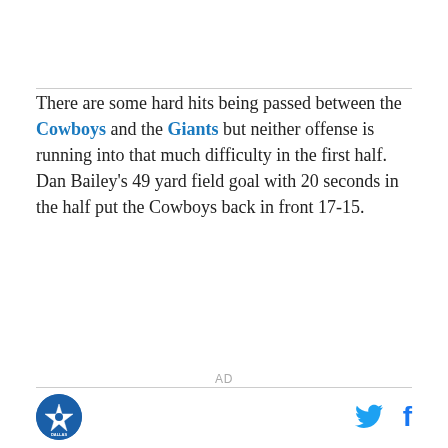There are some hard hits being passed between the Cowboys and the Giants but neither offense is running into that much difficulty in the first half. Dan Bailey's 49 yard field goal with 20 seconds in the half put the Cowboys back in front 17-15.
AD
[logo] [twitter] [facebook]